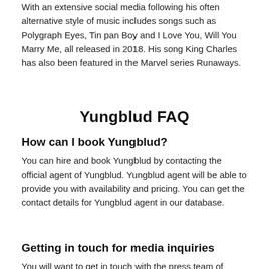With an extensive social media following his often alternative style of music includes songs such as Polygraph Eyes, Tin pan Boy and I Love You, Will You Marry Me, all released in 2018. His song King Charles has also been featured in the Marvel series Runaways.
Yungblud FAQ
How can I book Yungblud?
You can hire and book Yungblud by contacting the official agent of Yungblud. Yungblud agent will be able to provide you with availability and pricing. You can get the contact details for Yungblud agent in our database.
Getting in touch for media inquiries
You will want to get in touch with the press team of